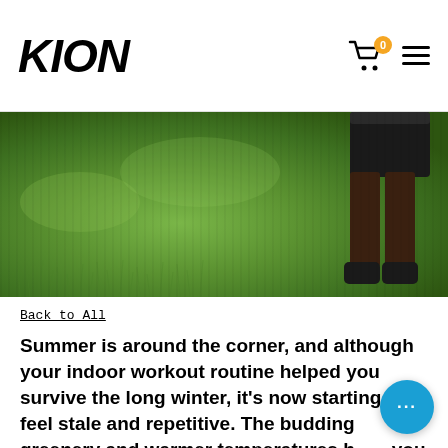KION
[Figure (photo): Outdoor grass field with a person's legs visible in the lower right corner, wearing dark shorts and shoes, leaning forward over green grass.]
Back to All
Summer is around the corner, and although your indoor workout routine helped you survive the long winter, it's now starting to feel stale and repetitive. The budding greenery and warmer temperatures have you looking for fresh outdoor exercise ideas, but when it's time to go work out, you find yourself back at the gym and stuck in a